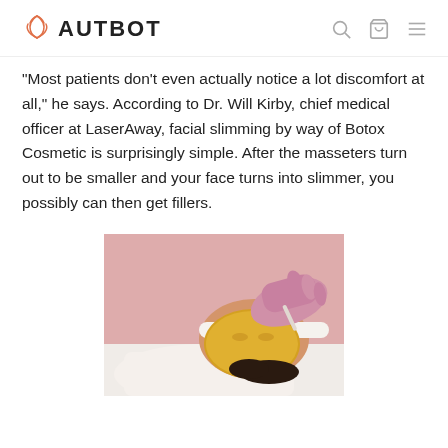BEAUTBOT
“Most patients don’t even actually notice a lot discomfort at all,” he says. According to Dr. Will Kirby, chief medical officer at LaserAway, facial slimming by way of Botox Cosmetic is surprisingly simple. After the masseters turn out to be smaller and your face turns into slimmer, you possibly can then get fillers.
[Figure (photo): A woman lying down receiving a facial treatment with a yellow/golden face mask applied, a gloved hand applying or removing the mask, wearing a white headband.]